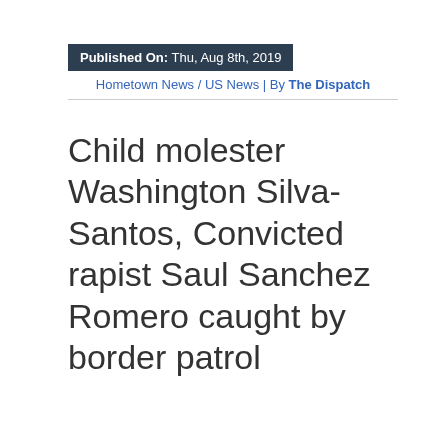Published On: Thu, Aug 8th, 2019
Hometown News / US News | By The Dispatch
Child molester Washington Silva-Santos, Convicted rapist Saul Sanchez Romero caught by border patrol